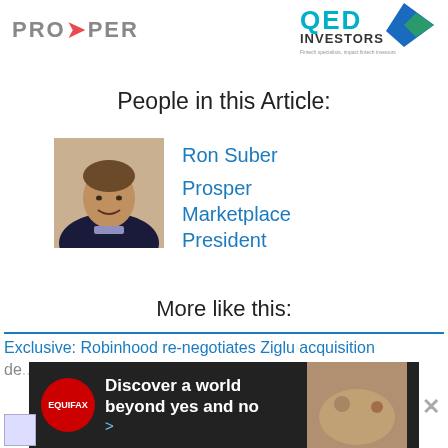[Figure (logo): Prosper logo (text with orange arrow accent) on the left, QED Investors logo (blue/teal geometric shape, text) on the right]
People in this Article:
[Figure (photo): Headshot photo of Ron Suber, a middle-aged man smiling, wearing a dark sweater]
Ron Suber
Prosper Marketplace President
More like this:
Exclusive: Robinhood re-negotiates Ziglu acquisition de... a loss
[Figure (other): Equifax advertisement banner: 'Discover a world beyond yes and no >' with Equifax logo on dark background]